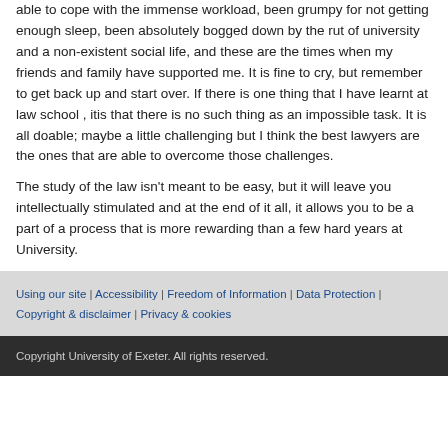able to cope with the immense workload, been grumpy for not getting enough sleep, been absolutely bogged down by the rut of university and a non-existent social life, and these are the times when my friends and family have supported me. It is fine to cry, but remember to get back up and start over. If there is one thing that I have learnt at law school , itis that there is no such thing as an impossible task. It is all doable; maybe a little challenging but I think the best lawyers are the ones that are able to overcome those challenges.
The study of the law isn't meant to be easy, but it will leave you intellectually stimulated and at the end of it all, it allows you to be a part of a process that is more rewarding than a few hard years at University.
Using our site | Accessibility | Freedom of Information | Data Protection | Copyright & disclaimer | Privacy & cookies
Copyright University of Exeter. All rights reserved.